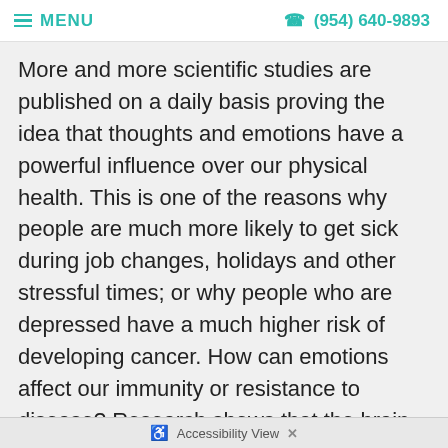MENU  (954) 640-9893
More and more scientific studies are published on a daily basis proving the idea that thoughts and emotions have a powerful influence over our physical health. This is one of the reasons why people are much more likely to get sick during job changes, holidays and other stressful times; or why people who are depressed have a much higher risk of developing cancer. How can emotions affect our immunity or resistance to disease? Research shows that the brain can release hormones and other chemicals that affect white blood cells and other parts of the immune system. Though the chemicals also have other functions, they are a link between our thoughts and our ability to resist diseases.For example, when people react to stresses with f a "danger"
Accessibility View